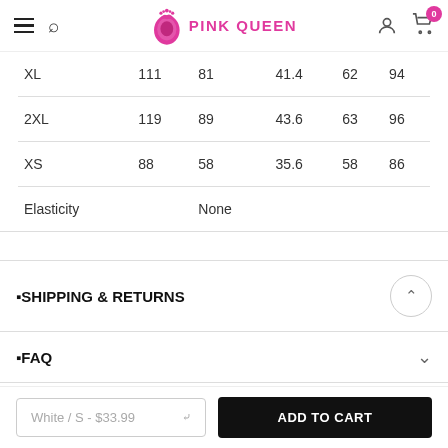Pink Queen
| XL | 111 | 81 | 41.4 | 62 | 94 |
| 2XL | 119 | 89 | 43.6 | 63 | 96 |
| XS | 88 | 58 | 35.6 | 58 | 86 |
| Elasticity |  | None |  |  |  |
SHIPPING & RETURNS
FAQ